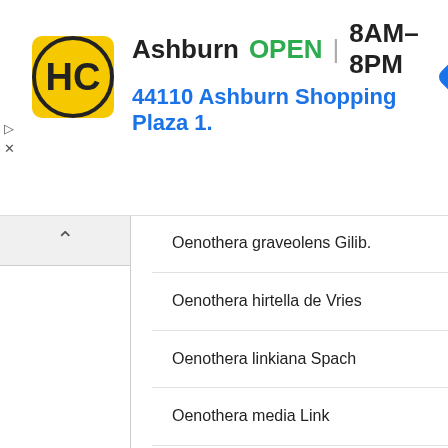[Figure (screenshot): HC store ad banner showing Ashburn location, OPEN 8AM-8PM, address 44110 Ashburn Shopping Plaza 1., navigation icon]
Oenothera graveolens Gilib.
Oenothera hirtella de Vries
Oenothera linkiana Spach
Oenothera media Link
Oenothera muricata L.
Oenothera muricata var. latifolia Asch.
Oenothera muricata var. rubricaulis Farwell
Oenothera novae-scotiae var. serratifolia R.R.Gates
Oenothera numismatica Bartlett
Oenothera paralamarckiana R.R.Gates
Oenothera paniflora var. muricata (L.) Fanu.